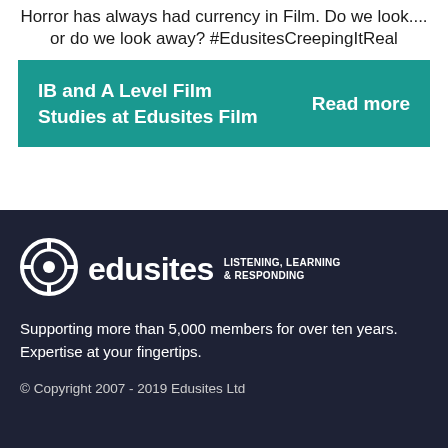Horror has always had currency in Film. Do we look.... or do we look away? #EdusitesCreepingItReal
IB and A Level Film Studies at Edusites Film   Read more
[Figure (logo): Edusites logo with circular target icon, text 'edusites' and tagline 'LISTENING, LEARNING & RESPONDING']
Supporting more than 5,000 members for over ten years. Expertise at your fingertips.
© Copyright 2007 - 2019 Edusites Ltd